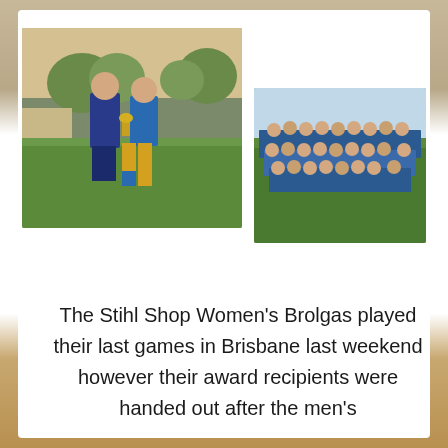[Figure (photo): Two men standing on a grass sports field, one in a blue polo shirt and shorts, the other in a blue and yellow rugby uniform holding a trophy. Trees and a building visible in background.]
[Figure (photo): Large group team photo of rugby players and staff in blue and yellow uniforms, standing together on a grass sports field at dusk.]
The Stihl Shop Women's Brolgas played their last games in Brisbane last weekend however their award recipients were handed out after the men's